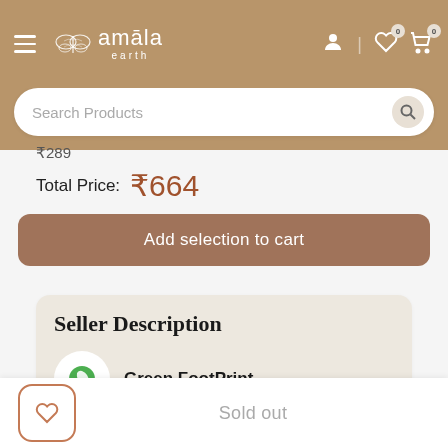amala earth — navigation bar with hamburger menu, logo, search bar, user/wishlist/cart icons
₹289
Total Price:  ₹664
Add selection to cart
Seller Description
Green FootPrint
Sold out